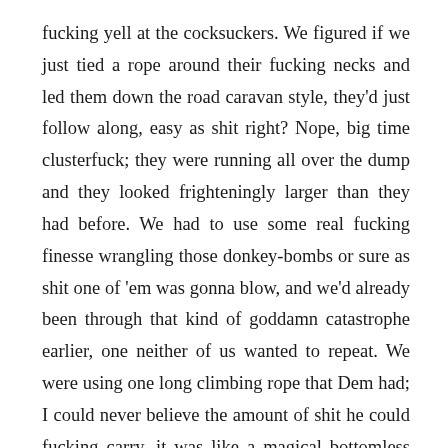fucking yell at the cocksuckers. We figured if we just tied a rope around their fucking necks and led them down the road caravan style, they'd just follow along, easy as shit right? Nope, big time clusterfuck; they were running all over the dump and they looked frighteningly larger than they had before. We had to use some real fucking finesse wrangling those donkey-bombs or sure as shit one of 'em was gonna blow, and we'd already been through that kind of goddamn catastrophe earlier, one neither of us wanted to repeat. We were using one long climbing rope that Dem had; I could never believe the amount of shit he could fucking carry, it was like a magical bottomless duffle bag that held anything explosive or anything that contributed to everything explosive with wiring, knives, handguns, flash-bombs